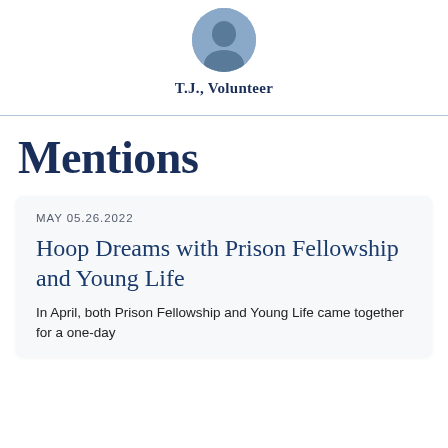[Figure (photo): Circular cropped photo of a person at the top of the page]
T.J., Volunteer
Mentions
MAY 05.26.2022
Hoop Dreams with Prison Fellowship and Young Life
In April, both Prison Fellowship and Young Life came together for a one-day